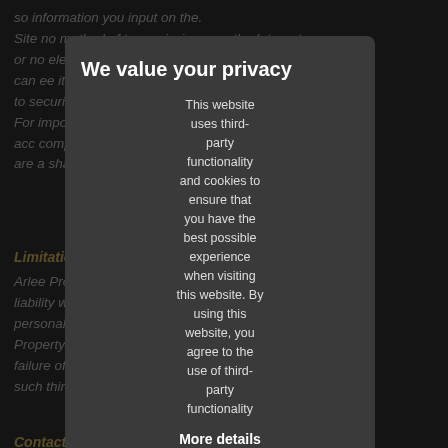so information you input on the. Site no method of transmission over the Internet or no electronic storage is completely secure and we can ee it's absolute security. You can further help to curity by taking a few simple precautions. For important to protect against unauthorised acc computer, and to be sure to sign off when you are a shared computer.
Limitation of Liability
Arlee Property Services Ltd assumes no responsibility or liability with regard to any theft, loss, alteration or misuse of personal or other information lawfully provided by Arlee Property Services Ltd to third parties, or with regard to the failure of any third party to abide by this privacy policy or such third party.
Contacting Us
If you have any questions regarding this Privacy Policy, you can contact us at
We value your privacy
This website uses third-party functionality and cookies to ensure that you have the best possible experience when visiting this website. By using this website, you agree to the use of third-party functionality
More details
Necessary
Third-party cookies
Accept selected
Accept all